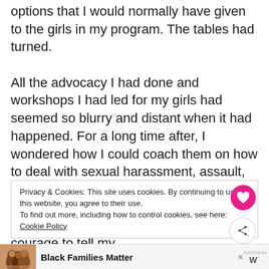options that I would normally have given to the girls in my program. The tables had turned.

All the advocacy I had done and workshops I had led for my girls had seemed so blurry and distant when it had happened. For a long time after, I wondered how I could coach them on how to deal with sexual harassment, assault, and inappropriate interactions with men, when I couldn't even breathe through it myself. When I could barely find the courage to tell my
Privacy & Cookies: This site uses cookies. By continuing to use this website, you agree to their use.
To find out more, including how to control cookies, see here:
Cookie Policy
[Figure (infographic): Advertisement banner with photo of people and text 'Black Families Matter']